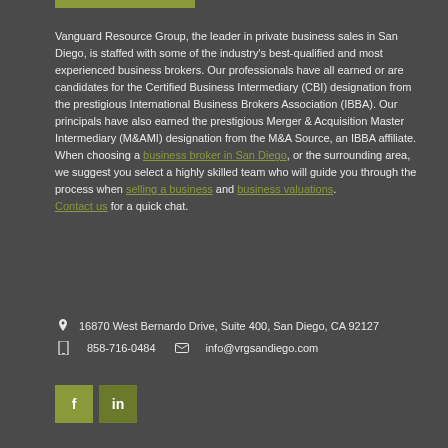Vanguard Resource Group, the leader in private business sales in San Diego, is staffed with some of the industry's best-qualified and most experienced business brokers. Our professionals have all earned or are candidates for the Certified Business Intermediary (CBI) designation from the prestigious International Business Brokers Association (IBBA). Our principals have also earned the prestigious Merger & Acquisition Master Intermediary (M&AMI) designation from the M&A Source, an IBBA affiliate. When choosing a business broker in San Diego, or the surrounding area, we suggest you select a highly skilled team who will guide you through the process when selling a business and business valuations. Contact us for a quick chat.
16870 West Bernardo Drive, Suite 400, San Diego, CA 92127
858-716-0484   info@vrgsandiego.com